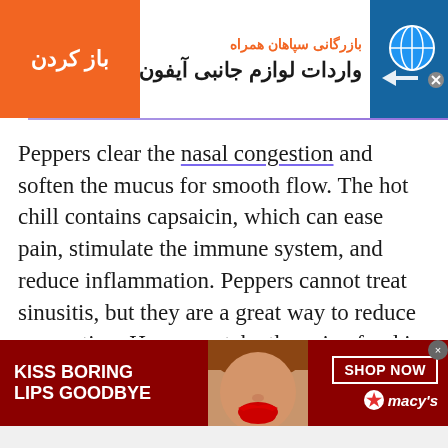[Figure (screenshot): Top advertisement banner in Farsi/Persian for iPhone accessories import with orange button labeled 'باز کردن' (Open) and company name 'بازرگانی سپاهان همراه', main text 'واردات لوازم جانبی آیفون' with globe and arrow icons on right side]
Peppers clear the nasal congestion and soften the mucus for smooth flow. The hot chill contains capsaicin, which can ease pain, stimulate the immune system, and reduce inflammation. Peppers cannot treat sinusitis, but they are a great way to reduce congestion. However, take the spicy food in moderation as it may lead to abdominal
[Figure (screenshot): Bottom advertisement banner for Macy's lipstick/makeup. Red background with white text 'KISS BORING LIPS GOODBYE' on left, center shows cropped photo of woman's face with red lipstick, right side has 'SHOP NOW' button and Macy's star logo.]